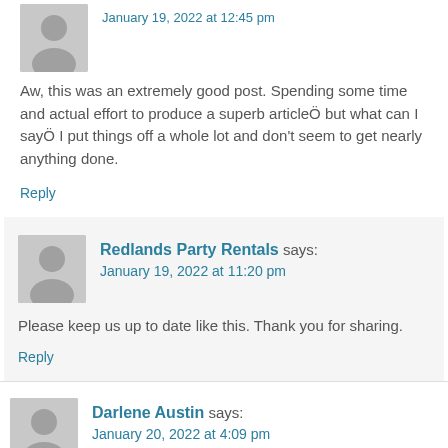Aw, this was an extremely good post. Spending some time and actual effort to produce a superb articleÖ but what can I sayÖ I put things off a whole lot and don't seem to get nearly anything done.
Reply
Redlands Party Rentals says:
January 19, 2022 at 11:20 pm
Please keep us up to date like this. Thank you for sharing.
Reply
Darlene Austin says:
January 20, 2022 at 4:09 pm
Asking questions are in fact pleasant thing if you are not